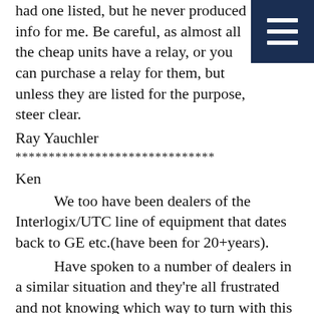had one listed, but he never produced info for me. Be careful, as almost all the cheap units have a relay, or you can purchase a relay for them, but unless they are listed for the purpose, steer clear.
Ray Yauchler
******************************
Ken
We too have been dealers of the Interlogix/UTC line of equipment that dates back to GE etc.(have been for 20+years).
Have spoken to a number of dealers in a similar situation and they're all frustrated and not knowing which way to turn with this bombshell dropped on the industry.
Really still hard to sort out what happened here?
From what others have seen the UTC said the